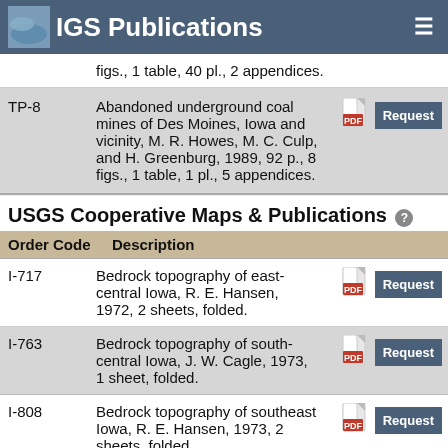IGS Publications
figs., 1 table, 40 pl., 2 appendices.
| Order Code | Description |
| --- | --- |
| TP-8 | Abandoned underground coal mines of Des Moines, Iowa and vicinity, M. R. Howes, M. C. Culp, and H. Greenburg, 1989, 92 p., 8 figs., 1 table, 1 pl., 5 appendices. |
USGS Cooperative Maps & Publications
| Order Code | Description |
| --- | --- |
| I-717 | Bedrock topography of east-central Iowa, R. E. Hansen, 1972, 2 sheets, folded. |
| I-763 | Bedrock topography of south-central Iowa, J. W. Cagle, 1973, 1 sheet, folded. |
| I-808 | Bedrock topography of southeast Iowa, R. E. Hansen, 1973, 2 sheets, folded. |
|  | Bedrock topography of |